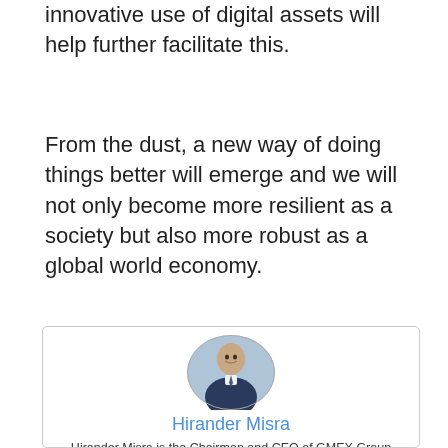innovative use of digital assets will help further facilitate this.
From the dust, a new way of doing things better will emerge and we will not only become more resilient as a society but also more robust as a global world economy.
[Figure (photo): Oval portrait photo of Hirander Misra, a man in a dark suit and tie, smiling, with a colorful background]
Hirander Misra
Hirander Misra is the Chairman and CEO of GMEX Group (GMEX), offering innovative solutions for the creation &